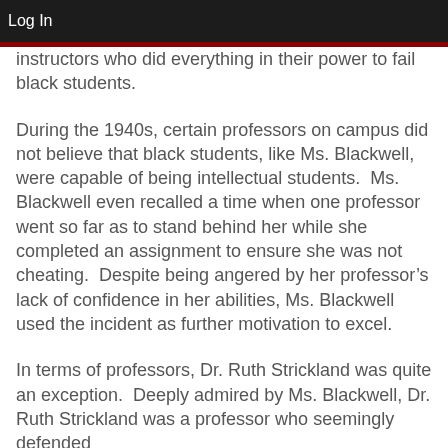Log In
instructors who did everything in their power to fail black students.
During the 1940s, certain professors on campus did not believe that black students, like Ms. Blackwell, were capable of being intellectual students.  Ms. Blackwell even recalled a time when one professor went so far as to stand behind her while she completed an assignment to ensure she was not cheating.  Despite being angered by her professor’s lack of confidence in her abilities, Ms. Blackwell used the incident as further motivation to excel.
In terms of professors, Dr. Ruth Strickland was quite an exception.  Deeply admired by Ms. Blackwell, Dr. Ruth Strickland was a professor who seemingly defended